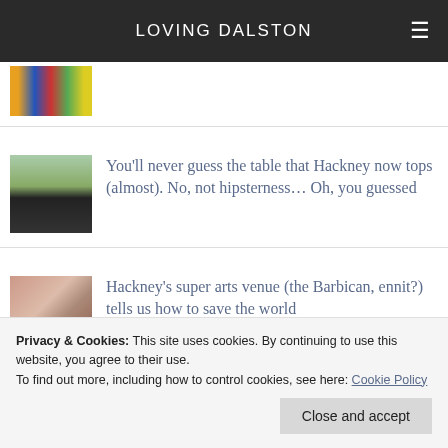LOVING DALSTON
[Figure (photo): Thumbnail image with colorful vertical stripes, partially cropped at top of page]
[Figure (photo): Thumbnail image showing a silhouette figure against a doorway with greenery]
You'll never guess the table that Hackney now tops (almost). No, not hipsterness… Oh, you guessed
[Figure (photo): Thumbnail image showing audience at an arts event, partially cropped by cookie banner]
Hackney's super arts venue (the Barbican, ennit?) tells us how to save the world
Privacy & Cookies: This site uses cookies. By continuing to use this website, you agree to their use.
To find out more, including how to control cookies, see here: Cookie Policy
Close and accept